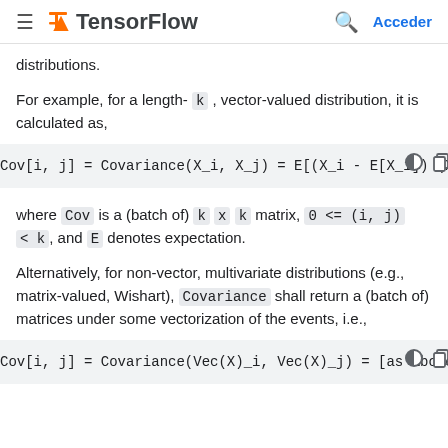TensorFlow  Acceder
distributions.
For example, for a length- k , vector-valued distribution, it is calculated as,
where Cov is a (batch of) k x k matrix, 0 <= (i, j) < k , and E denotes expectation.
Alternatively, for non-vector, multivariate distributions (e.g., matrix-valued, Wishart), Covariance shall return a (batch of) matrices under some vectorization of the events, i.e.,